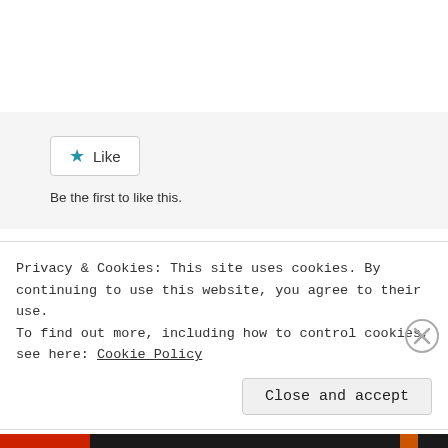[Figure (screenshot): Like button widget with blue star icon and text 'Like', followed by text 'Be the first to like this.']
Leave a comment
Leave a Reply
Privacy & Cookies: This site uses cookies. By continuing to use this website, you agree to their use.
To find out more, including how to control cookies, see here: Cookie Policy
Close and accept